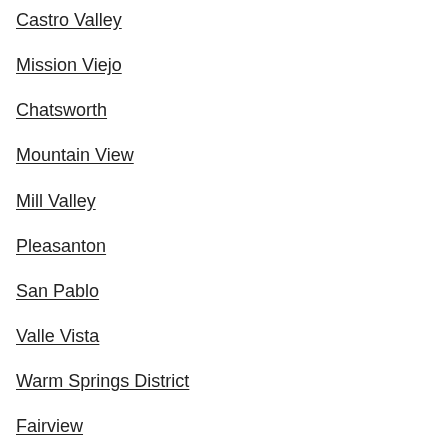Castro Valley
Mission Viejo
Chatsworth
Mountain View
Mill Valley
Pleasanton
San Pablo
Valle Vista
Warm Springs District
Fairview